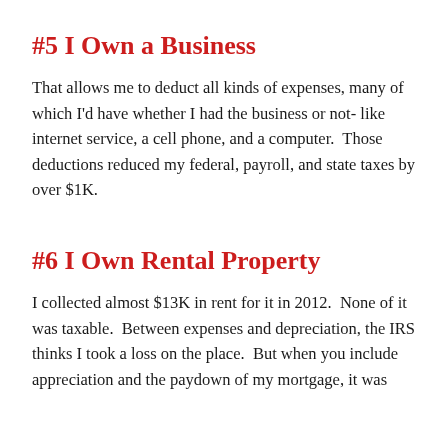#5 I Own a Business
That allows me to deduct all kinds of expenses, many of which I'd have whether I had the business or not- like internet service, a cell phone, and a computer.  Those deductions reduced my federal, payroll, and state taxes by over $1K.
#6 I Own Rental Property
I collected almost $13K in rent for it in 2012.  None of it was taxable.  Between expenses and depreciation, the IRS thinks I took a loss on the place.  But when you include appreciation and the paydown of my mortgage, it was